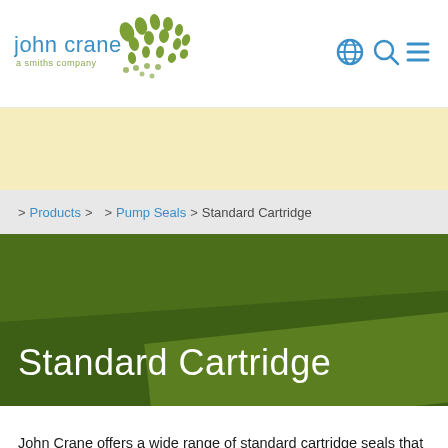[Figure (logo): John Crane logo with green dotted pattern and 'a smiths company' tagline]
[Figure (illustration): Navigation icons: globe, search magnifier, hamburger menu in blue]
> Products > > Pump Seals > Standard Cartridge
Standard Cartridge
John Crane offers a wide range of standard cartridge seals that are versatile and easy to install, suit a wide range of duties and are commonly used in